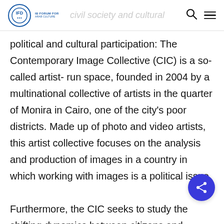IFD logo | civil society and cultural participation | search | menu
political and cultural participation: The Contemporary Image Collective (CIC) is a so-called artist- run space, founded in 2004 by a multinational collective of artists in the quarter of Monira in Cairo, one of the city's poor districts. Made up of photo and video artists, this artist collective focuses on the analysis and production of images in a country in which working with images is a political issue.

Furthermore, the CIC seeks to study the shifting dynamics between citizens and